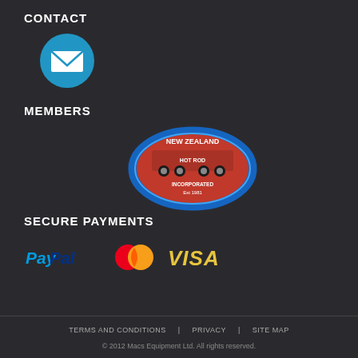CONTACT
[Figure (illustration): Blue circle with white envelope/mail icon]
MEMBERS
[Figure (logo): New Zealand Hot Rod Association Inc. oval logo with red background and blue border]
SECURE PAYMENTS
[Figure (logo): PayPal, MasterCard, and VISA payment icons]
TERMS AND CONDITIONS  |  PRIVACY  |  SITE MAP
© 2012 Macs Equipment Ltd. All rights reserved.